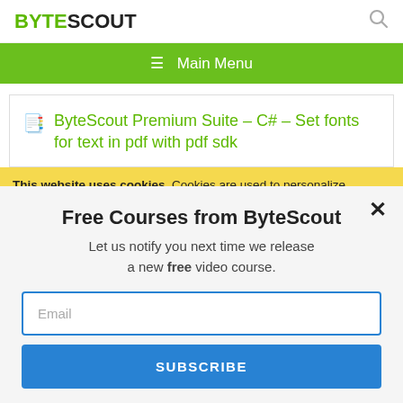BYTESCOUT
≡ Main Menu
ByteScout Premium Suite – C# – Set fonts for text in pdf with pdf sdk
This website uses cookies. Cookies are used to personalize content, analyze traffic, provide social media features, display ads. We also share
Free Courses from ByteScout
Let us notify you next time we release a new free video course.
Email
SUBSCRIBE